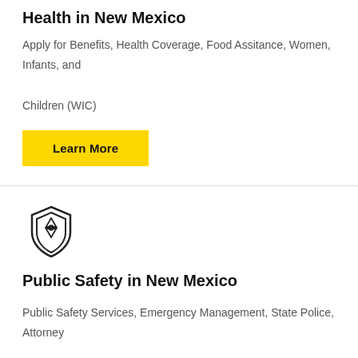Health in New Mexico
Apply for Benefits, Health Coverage, Food Assitance, Women, Infants, and Children (WIC)
Learn More
[Figure (illustration): Police/sheriff badge icon outline with a star in the center]
Public Safety in New Mexico
Public Safety Services, Emergency Management, State Police, Attorney General's Office
Learn More